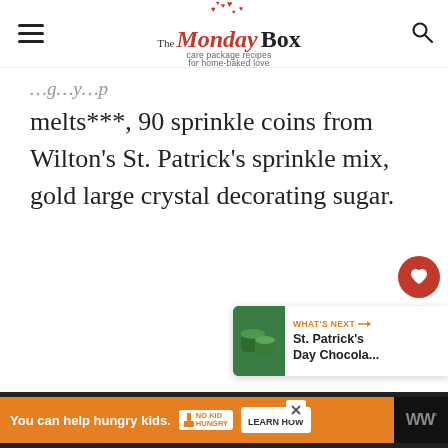The Monday Box — care package recipes for home-baked love
melts***, 90 sprinkle coins from Wilton's St. Patrick's sprinkle mix, gold large crystal decorating sugar.
[Figure (other): Heart (save) button — red circular button with white heart icon]
[Figure (other): Share button — white circular button with share icon]
[Figure (other): What's Next panel showing St. Patrick's Day Chocola... thumbnail with green rolled chocolate image]
[Figure (other): Advertisement bar: orange background, 'You can help hungry kids.' No Kid Hungry badge, Learn How button, WW logo, close X button]